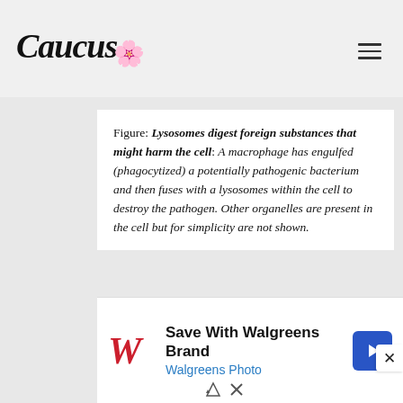Caucus
Figure: Lysosomes digest foreign substances that might harm the cell: A macrophage has engulfed (phagocytized) a potentially pathogenic bacterium and then fuses with a lysosomes within the cell to destroy the pathogen. Other organelles are present in the cell but for simplicity are not shown.
A lysosome is composed of lipids, which
[Figure (infographic): Walgreens advertisement banner: Save With Walgreens Brand, Walgreens Photo, with Walgreens W logo and navigation arrow icon]